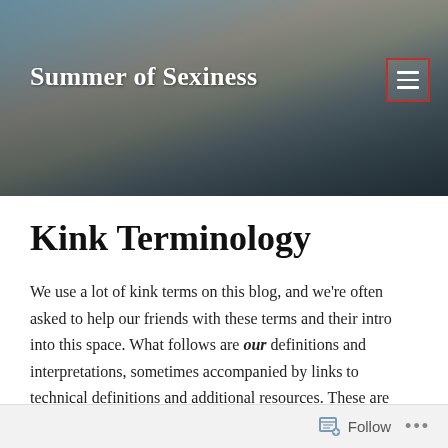Summer of Sexiness
Kink Terminology
We use a lot of kink terms on this blog, and we're often asked to help our friends with these terms and their intro into this space. What follows are our definitions and interpretations, sometimes accompanied by links to technical definitions and additional resources. These are roughly laid out “in order” to help you build a vocabulary from the top of this page to the bottom.
Follow ...